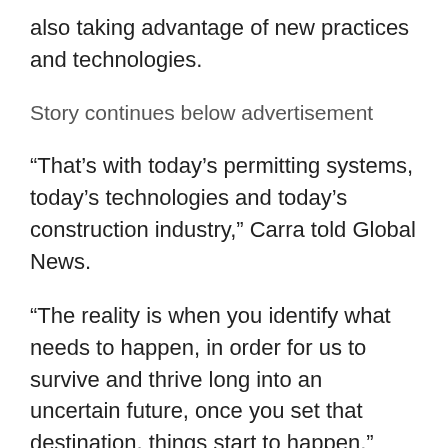also taking advantage of new practices and technologies.
Story continues below advertisement
“That’s with today’s permitting systems, today’s technologies and today’s construction industry,” Carra told Global News.
“The reality is when you identify what needs to happen, in order for us to survive and thrive long into an uncertain future, once you set that destination, things start to happen.”
But retrofitting an entire home to be net-zero can be expensive.
According to Hermanson, it can cost between $100,000 and $200,000 without factoring in